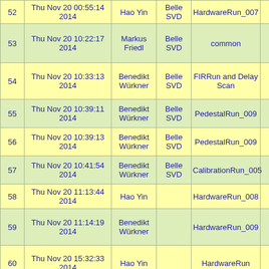| # | Date/Time | User | Detector | Run Type |  |
| --- | --- | --- | --- | --- | --- |
| 52 | Thu Nov 20 00:55:14 2014 | Hao Yin | Belle SVD | HardwareRun_007 |  |
| 53 | Thu Nov 20 10:22:17 2014 | Markus Friedl | Belle SVD | common |  |
| 54 | Thu Nov 20 10:33:13 2014 | Benedikt Würkner | Belle SVD | FIRRun and Delay Scan |  |
| 55 | Thu Nov 20 10:39:11 2014 | Benedikt Würkner | Belle SVD | PedestalRun_009 |  |
| 56 | Thu Nov 20 10:39:13 2014 | Benedikt Würkner | Belle SVD | PedestalRun_009 |  |
| 57 | Thu Nov 20 10:41:54 2014 | Benedikt Würkner | Belle SVD | CalibrationRun_005 |  |
| 58 | Thu Nov 20 11:13:44 2014 | Hao Yin |  | HardwareRun_008 |  |
| 59 | Thu Nov 20 11:14:19 2014 | Benedikt Würkner |  | HardwareRun_009 |  |
| 60 | Thu Nov 20 15:32:33 2014 | Hao Yin |  | HardwareRun |  |
| 61 | Thu Nov 20 15:46:21 2014 | Axel König | Infineon | hardware run |  |